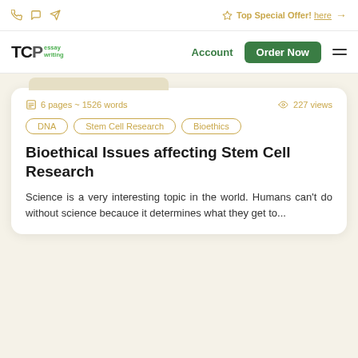Top Special Offer! here →
[Figure (logo): TCPessay writing logo with green text]
Account
Order Now
6 pages ~ 1526 words   227 views
DNA
Stem Cell Research
Bioethics
Bioethical Issues affecting Stem Cell Research
Science is a very interesting topic in the world. Humans can't do without science becauce it determines what they get to...